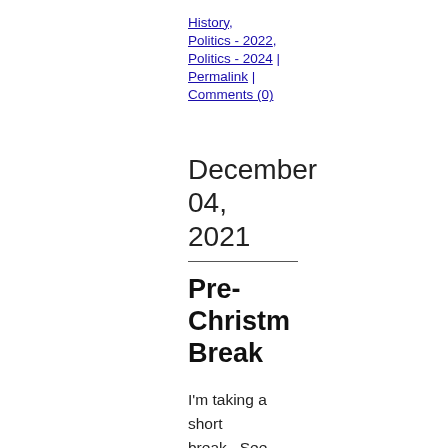History, Politics - 2022, Politics - 2024 | Permalink | Comments (0)
December 04, 2021
Pre-Christmas Break
I'm taking a short break.  See you the middle of the month.
Posted by Pat Allen on December 04, 2021 at 09:25 AM |